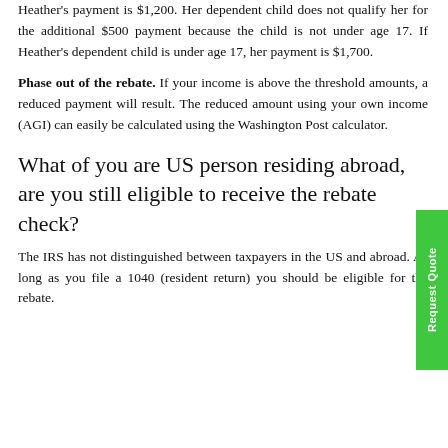Heather's payment is $1,200. Her dependent child does not qualify her for the additional $500 payment because the child is not under age 17. If Heather's dependent child is under age 17, her payment is $1,700.
Phase out of the rebate. If your income is above the threshold amounts, a reduced payment will result. The reduced amount using your own income (AGI) can easily be calculated using the Washington Post calculator.
What of you are US person residing abroad, are you still eligible to receive the rebate check?
The IRS has not distinguished between taxpayers in the US and abroad. As long as you file a 1040 (resident return) you should be eligible for the rebate.